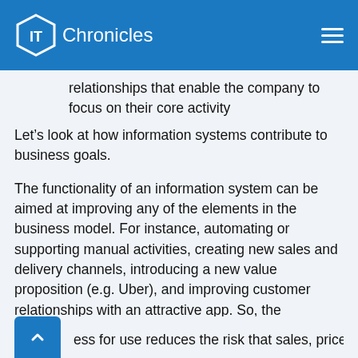IT Chronicles
relationships that enable the company to focus on their core activity
Let's look at how information systems contribute to business goals.
The functionality of an information system can be aimed at improving any of the elements in the business model. For instance, automating or supporting manual activities, creating new sales and delivery channels, introducing a new value proposition (e.g. Uber), and improving customer relationships with an attractive app. So, the information system's fitness for purpose potentially contributes to improving all of the business goals.
ess for use reduces the risk that sales, prices and costs will